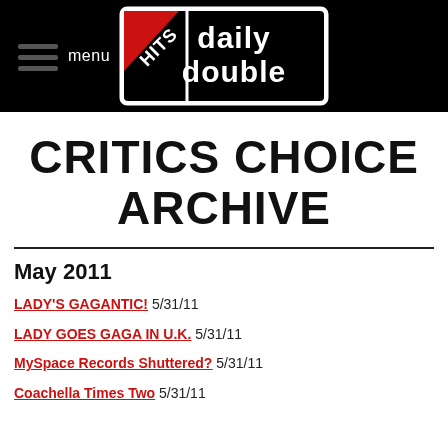menu | HITS Daily Double
CRITICS CHOICE ARCHIVE
May 2011
LADY'S GAGANTIC! 5/31/11
LADY GOES GAGA IN U.K. 5/31/11
MySpace Records Shuttered? 5/31/11
Coachella Times Two 5/31/11